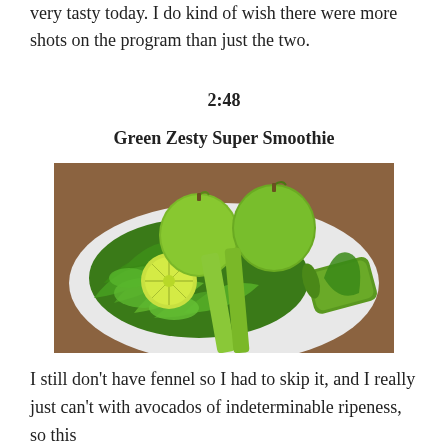very tasty today. I do kind of wish there were more shots on the program than just the two.
2:48
Green Zesty Super Smoothie
[Figure (photo): A plate of green smoothie ingredients including green apples, celery stalks, leafy greens (spinach/watercress), lime slices, and a cucumber piece on a wooden surface.]
I still don't have fennel so I had to skip it, and I really just can't with avocados of indeterminable ripeness, so this